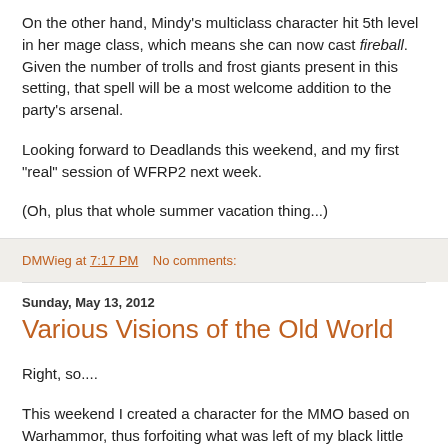On the other hand, Mindy's multiclass character hit 5th level in her mage class, which means she can now cast fireball. Given the number of trolls and frost giants present in this setting, that spell will be a most welcome addition to the party's arsenal.
Looking forward to Deadlands this weekend, and my first "real" session of WFRP2 next week.
(Oh, plus that whole summer vacation thing...)
DMWieg at 7:17 PM    No comments:
Sunday, May 13, 2012
Various Visions of the Old World
Right, so....
This weekend I created a character for the MMO based on Warhammor, thus forfoiting what was left of my black little